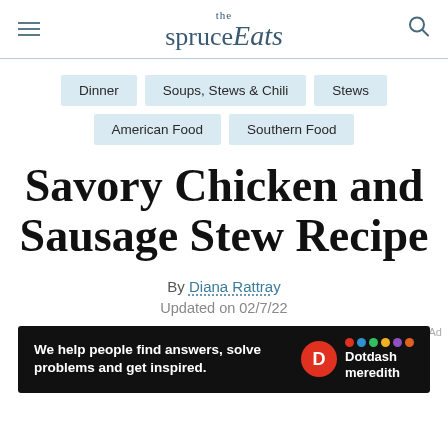the spruceEats
Dinner
Soups, Stews & Chili
Stews
American Food
Southern Food
Savory Chicken and Sausage Stew Recipe
By Diana Rattray
Updated on 02/7/22
[Figure (other): Dotdash Meredith advertisement banner: 'We help people find answers, solve problems and get inspired.']